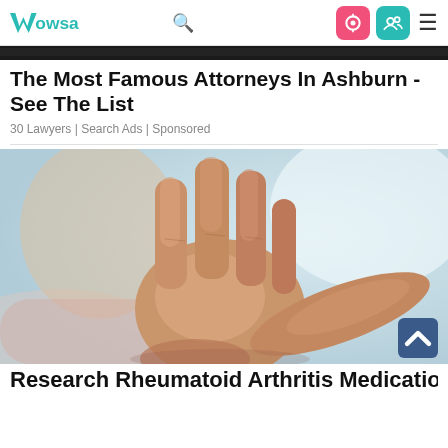Wowsa
[Figure (photo): Thin dark strip at top, cropped bottom of a person image]
The Most Famous Attorneys In Ashburn - See The List
30 Lawyers | Search Ads | Sponsored
[Figure (photo): Elderly woman holding up her hand showing arthritic fingers toward camera, blurred face in background]
Research Rheumatoid Arthritis Medication, See